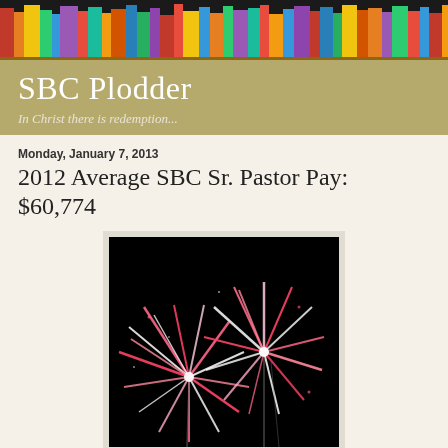[Figure (photo): Colorful bookshelf header image with books of various colors]
SBC Plodder
In Christ there is redemption...
Monday, January 7, 2013
2012 Average SBC Sr. Pastor Pay: $60,774
[Figure (photo): Fireworks display against black background showing pink and white fireworks bursting]
Pastor pay is up! Happy days are here again!